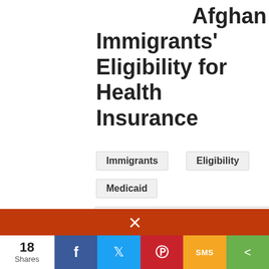Afghan Immigrants' Eligibility for Health Insurance
Immigrants
Eligibility
Medicaid
Children's Health Insurance
Our Helpline is open every Monday and Wednesday from 8am to 8pm. Call us at 1-800-274-3258 or email staff@phlp.org.
18 Shares